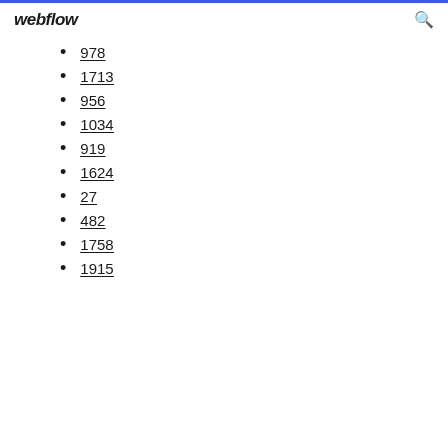webflow
978
1713
956
1034
919
1624
27
482
1758
1915